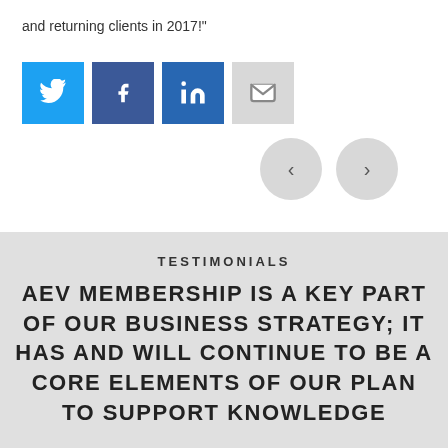and returning clients in 2017!"
[Figure (infographic): Social share buttons: Twitter (blue), Facebook (dark blue), LinkedIn (medium blue), Email (light gray), and two navigation circle buttons with left and right chevrons]
TESTIMONIALS
AEV MEMBERSHIP IS A KEY PART OF OUR BUSINESS STRATEGY; IT HAS AND WILL CONTINUE TO BE A CORE ELEMENTS OF OUR PLAN TO SUPPORT KNOWLEDGE